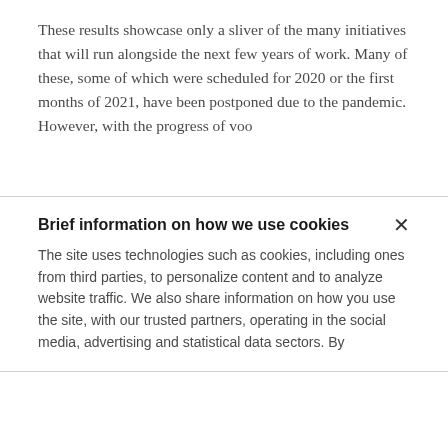These results showcase only a sliver of the many initiatives that will run alongside the next few years of work. Many of these, some of which were scheduled for 2020 or the first months of 2021, have been postponed due to the pandemic. However, with the progress of voo...
Brief information on how we use cookies
The site uses technologies such as cookies, including ones from third parties, to personalize content and to analyze website traffic. We also share information on how you use the site, with our trusted partners, operating in the social media, advertising and statistical data sectors. By...